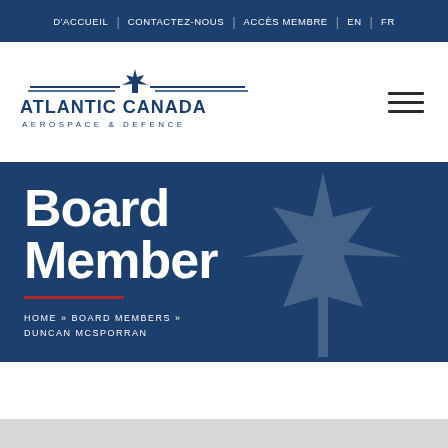D'ACCUEIL | CONTACTEZ-NOUS | ACCÈS MEMBRE | EN | FR
[Figure (logo): Atlantic Canada Aerospace & Defence logo with maple leaf and wing design]
Board Member
HOME » BOARD MEMBERS » DUNCAN MCSPORRAN